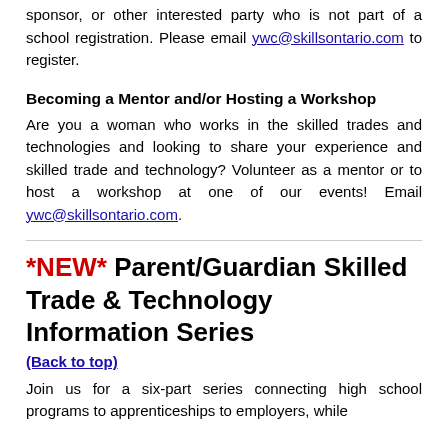sponsor, or other interested party who is not part of a school registration. Please email ywc@skillsontario.com to register.
Becoming a Mentor and/or Hosting a Workshop
Are you a woman who works in the skilled trades and technologies and looking to share your experience and skilled trade and technology? Volunteer as a mentor or to host a workshop at one of our events! Email ywc@skillsontario.com.
*NEW* Parent/Guardian Skilled Trade & Technology Information Series
(Back to top)
Join us for a six-part series connecting high school programs to apprenticeships to employers, while